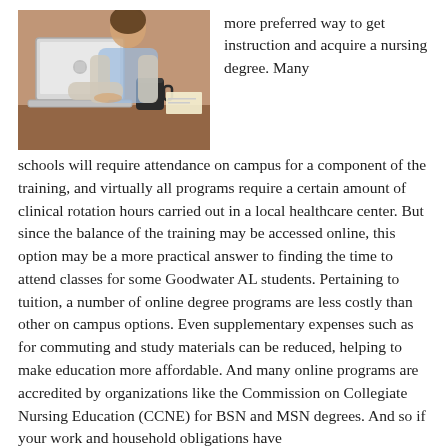[Figure (photo): Woman working on a MacBook laptop at a desk with a coffee mug and papers, brick wall in background]
more preferred way to get instruction and acquire a nursing degree. Many schools will require attendance on campus for a component of the training, and virtually all programs require a certain amount of clinical rotation hours carried out in a local healthcare center. But since the balance of the training may be accessed online, this option may be a more practical answer to finding the time to attend classes for some Goodwater AL students. Pertaining to tuition, a number of online degree programs are less costly than other on campus options. Even supplementary expenses such as for commuting and study materials can be reduced, helping to make education more affordable. And many online programs are accredited by organizations like the Commission on Collegiate Nursing Education (CCNE) for BSN and MSN degrees. And so if your work and household obligations have